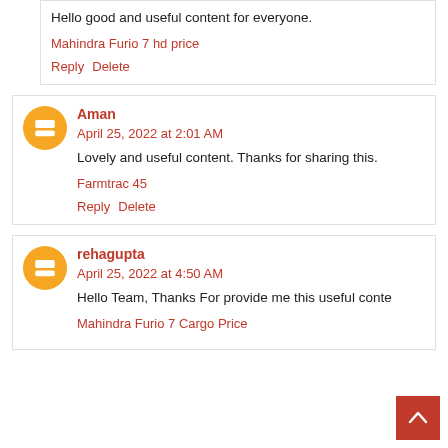Hello good and useful content for everyone.
Mahindra Furio 7 hd price
Reply   Delete
Aman
April 25, 2022 at 2:01 AM
Lovely and useful content. Thanks for sharing this.
Farmtrac 45
Reply   Delete
rehagupta
April 25, 2022 at 4:50 AM
Hello Team, Thanks For provide me this useful conte...
Mahindra Furio 7 Cargo Price